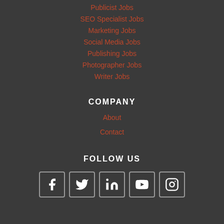Publicist Jobs
SEO Specialist Jobs
Marketing Jobs
Social Media Jobs
Publishing Jobs
Photographer Jobs
Writer Jobs
COMPANY
About
Contact
FOLLOW US
[Figure (infographic): Social media icons: Facebook, Twitter, LinkedIn, YouTube, Instagram in outlined square buttons]